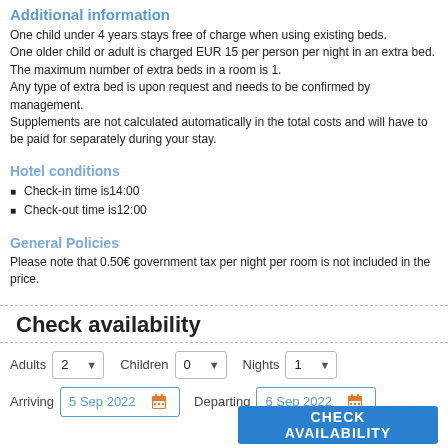Additional information
One child under 4 years stays free of charge when using existing beds.
One older child or adult is charged EUR 15 per person per night in an extra bed.
The maximum number of extra beds in a room is 1.
Any type of extra bed is upon request and needs to be confirmed by management.
Supplements are not calculated automatically in the total costs and will have to be paid for separately during your stay.
Hotel conditions
Check-in time is14:00
Check-out time is12:00
General Policies
Please note that 0.50€ government tax per night per room is not included in the price.
Check availability